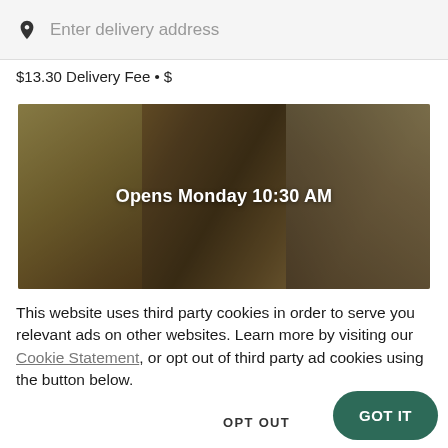Enter delivery address
$13.30 Delivery Fee • $
[Figure (photo): Restaurant food photo with dark overlay showing text 'Opens Monday 10:30 AM']
This website uses third party cookies in order to serve you relevant ads on other websites. Learn more by visiting our Cookie Statement, or opt out of third party ad cookies using the button below.
OPT OUT
GOT IT